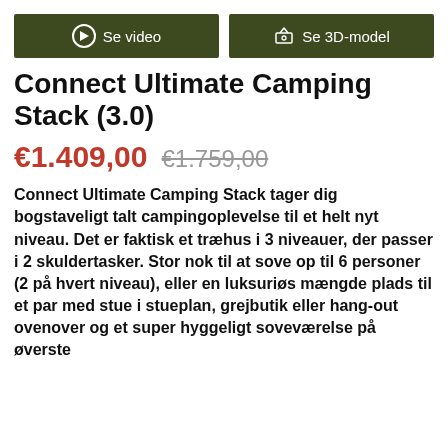[Figure (other): Two dark olive green buttons: 'Se video' with a play icon and 'Se 3D-model' with a 3D model icon]
Connect Ultimate Camping Stack (3.0)
€1.409,00  €1.759,00
Connect Ultimate Camping Stack tager dig bogstaveligt talt campingoplevelse til et helt nyt niveau. Det er faktisk et træhus i 3 niveauer, der passer i 2 skuldertasker. Stor nok til at sove op til 6 personer (2 på hvert niveau), eller en luksuriøs mængde plads til et par med stue i stueplan, grejbutik eller hang-out ovenover og et super hyggeligt soveværelse på øverste